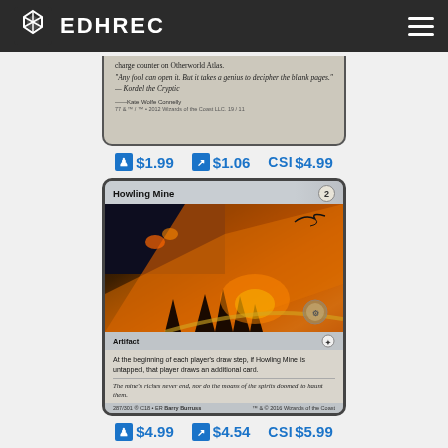EDHREC
[Figure (photo): Partial Magic: The Gathering card bottom showing italic flavor text: 'Any fool can open it. But it takes a genius to decipher the blank pages.' — Kordel the Cryptic, with artist credit Kate Wolfe Connelly]
$1.99  $1.06  $4.99
[Figure (photo): Magic: The Gathering card named Howling Mine, artifact card with cost 2 colorless, showing art of a glowing mine/crater scene with dark creatures. Text: At the beginning of each player's draw step, if Howling Mine is untapped, that player draws an additional card. Flavor text: The mine's riches never end, nor do the moans of the spirits doomed to haunt them. Card number 287/301, set C18.]
$4.99  $4.54  $5.99